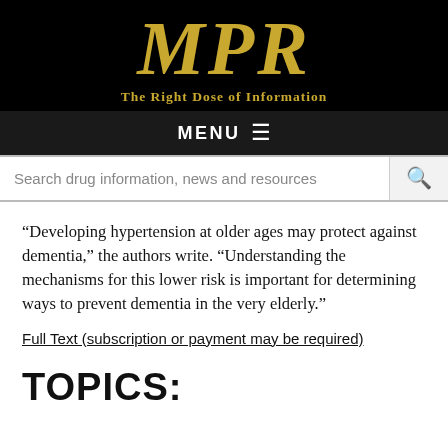MPR – The Right Dose of Information
MENU ≡
Search drug information, news and resources
“Developing hypertension at older ages may protect against dementia,” the authors write. “Understanding the mechanisms for this lower risk is important for determining ways to prevent dementia in the very elderly.”
Full Text (subscription or payment may be required)
TOPICS: